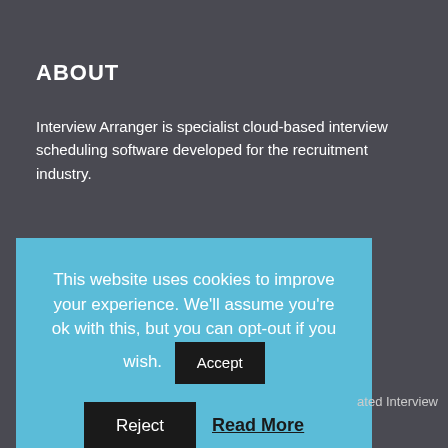ABOUT
Interview Arranger is specialist cloud-based interview scheduling software developed for the recruitment industry.
This website uses cookies to improve your experience. We'll assume you're ok with this, but you can opt-out if you wish. Accept Reject Read More
ated Interview